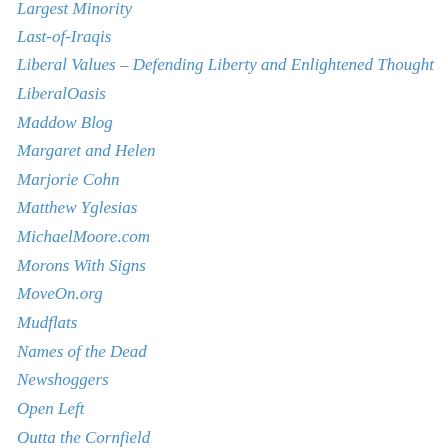Largest Minority
Last-of-Iraqis
Liberal Values – Defending Liberty and Enlightened Thought
LiberalOasis
Maddow Blog
Margaret and Helen
Marjorie Cohn
Matthew Yglesias
MichaelMoore.com
Morons With Signs
MoveOn.org
Mudflats
Names of the Dead
Newshoggers
Open Left
Outta the Cornfield
Raw Story
Shannyn Moore: Just a girl from Homer
Smirking Chimp
Talking Points Memo